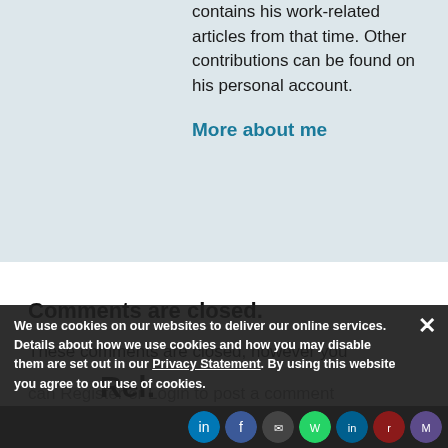contains his work-related articles from that time. Other contributions can be found on his personal account.
More about me
Comments are closed.
These comments are closed, however you can Register or Login to post a comment
Rel.
We use cookies on our websites to deliver our online services. Details about how we use cookies and how you may disable them are set out in our Privacy Statement. By using this website you agree to our use of cookies.